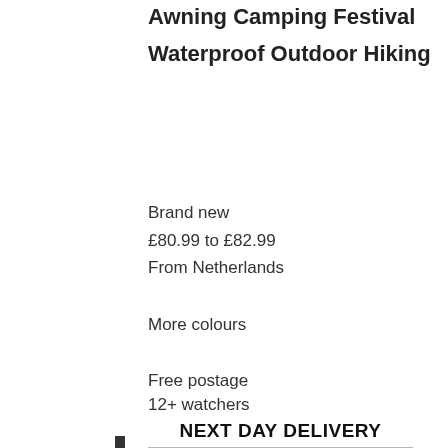Awning Camping Festival
Waterproof Outdoor Hiking
Brand new
£80.99 to £82.99
From Netherlands
More colours
Free postage
12+ watchers
[Figure (photo): A large dark grey inflatable tunnel tent set up on green grass with trees in the background. Banner at top reads NEXT DAY DELIVERY in bold black text. Red italic NEW badge in bottom right corner.]